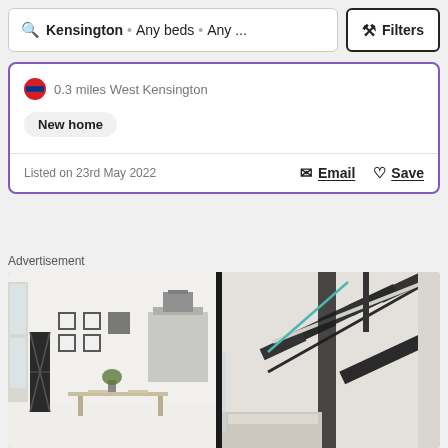🔍 Kensington · Any beds · Any ... ⚙ Filters
0.3 miles West Kensington
New home
Listed on 23rd May 2022
Email  Save
Advertisement
[Figure (photo): Interior photo of a modern home showing a kitchen/living area and a black metal spiral staircase, side by side]